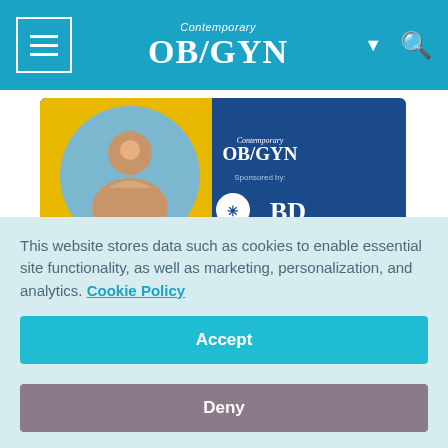Contemporary OB/GYN
[Figure (photo): Contemporary OB/GYN advertisement banner sponsored by BD, showing a smiling woman and the BD logo on a dark blue background with yellow accent.]
As rounds began on an inpatient floor early one morning, a team of surgeons rushed in to visit a fragile 75-year-old woman. The attending surgeon, too busy to think of the
This website stores data such as cookies to enable essential site functionality, as well as marketing, personalization, and analytics. Cookie Policy
Accept
Deny